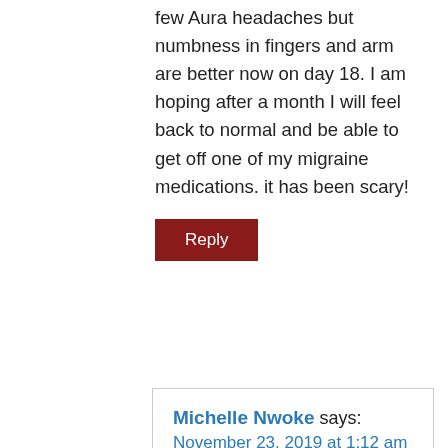few Aura headaches but numbness in fingers and arm are better now on day 18. I am hoping after a month I will feel back to normal and be able to get off one of my migraine medications. it has been scary!
Reply
Michelle Nwoke says:
November 23, 2019 at 1:12 am
Suzanne I to have had 2 aneurysms coiled & have been on both Aspirin & Plavix. I was told after my cerebral angiogram to recheck the repaired aneurysms that I should stop the plavix. I have tried stopping this drug x 2 & every instance I experience halos in my right eye & blurred vision in both eyes. No pain or numbness. Left message with my